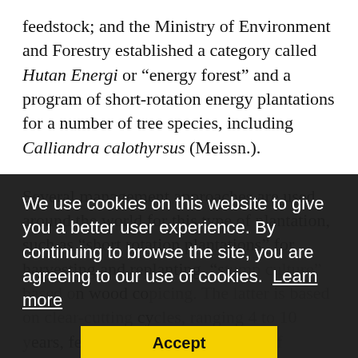feedstock; and the Ministry of Environment and Forestry established a category called Hutan Energi or “energy forest” and a program of short-rotation energy plantations for a number of tree species, including Calliandra calothyrsus (Meissn.).
Several management approaches are used around the world for this type of plantation, such as “short rotation plantations” for harvesting and replanting, “s[...]d [...] on wood co[...]tting cy[...]wing trees of uniform size with high-density spacing between the individual trees. This has been considered an ideal system for management of biomass because it not only provides regular,
We use cookies on this website to give you a better user experience. By continuing to browse the site, you are agreeing to our use of cookies. Learn more
Accept